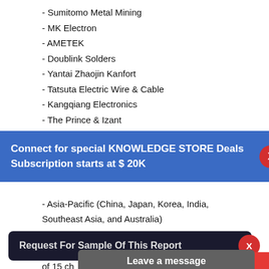- Sumitomo Metal Mining
- MK Electron
- AMETEK
- Doublink Solders
- Yantai Zhaojin Kanfort
- Tatsuta Electric Wire & Cable
- Kangqiang Electronics
- The Prince & Izant
Market segment by region, regional analysis covers
- North America (United States, Canada and
Connect for special KNOWLEDGE STORE Deals
Subscription starts at $ 20K
- Asia-Pacific (China, Japan, Korea, India, Southeast Asia, and Australia)
- South America (Brazil, Argentina, Colombia, and Rest of South America)
Request For Sample Of This Report
Buy Any Report Avail 20% Code:
Leave a message
The con